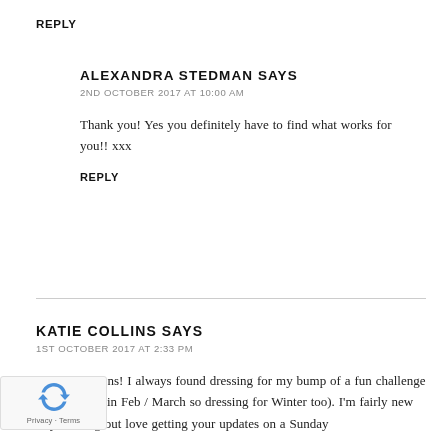REPLY
ALEXANDRA STEDMAN SAYS
2ND OCTOBER 2017 AT 10:00 AM
Thank you! Yes you definitely have to find what works for you!! xxx
REPLY
KATIE COLLINS SAYS
1ST OCTOBER 2017 AT 2:33 PM
Congratulations! I always found dressing for my bump of a fun challenge (had my two in Feb / March so dressing for Winter too). I'm fairly new to your blog but love getting your updates on a Sunday